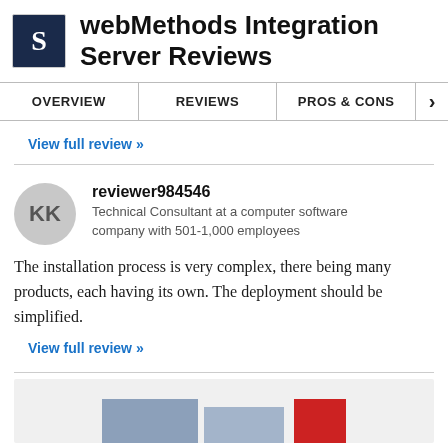webMethods Integration Server Reviews
OVERVIEW | REVIEWS | PROS & CONS
View full review »
reviewer984546
Technical Consultant at a computer software company with 501-1,000 employees
The installation process is very complex, there being many products, each having its own. The deployment should be simplified.
View full review »
[Figure (screenshot): Partially visible screenshot at the bottom of the page showing a card with blue and red rectangular elements]